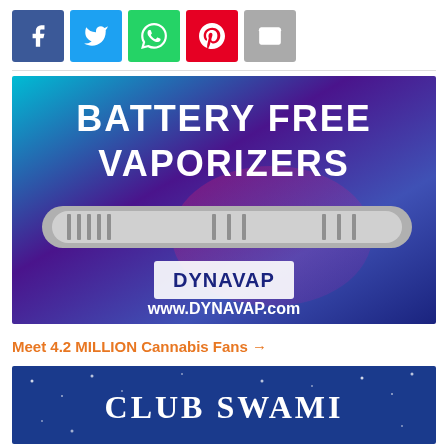[Figure (infographic): Social share buttons: Facebook (blue), Twitter (light blue), WhatsApp (green), Pinterest (red), Email (grey)]
[Figure (advertisement): DynaVap Battery Free Vaporizers advertisement with purple/teal gradient background, metal vaporizer device, DynaVap logo, and www.DYNAVAP.com URL]
Meet 4.2 MILLION Cannabis Fans →
[Figure (advertisement): Club Swami advertisement with dark blue background and white stars/dots, white text reading CLUB SWAMI]